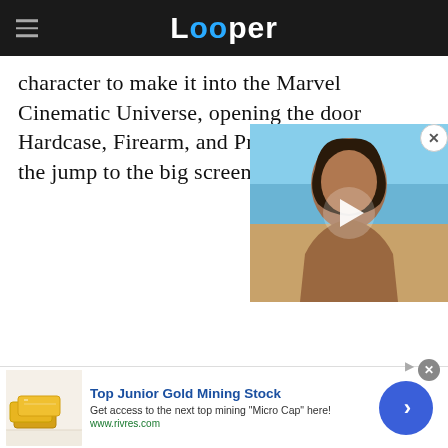Looper
character to make it into the Marvel Cinematic Universe, opening the door Hardcase, Firearm, and Prim the jump to the big screen a
[Figure (photo): Video thumbnail showing a man with long dark hair and beard, shirtless, with a beach background. A play button overlay is shown in the center.]
[Figure (infographic): Advertisement banner: Top Junior Gold Mining Stock. Get access to the next top mining Micro Cap here! www.rivres.com. Shows gold bars image and a blue arrow circle button.]